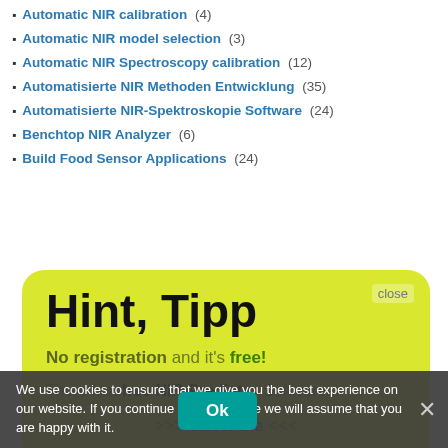Automatic NIR calibration (4)
Automatic NIR model selection (3)
Automatic NIR Spectroscopy calibration (12)
Automatisierte NIR Methoden Entwicklung (35)
Automatisierte NIR-Spektroskopie Software (24)
Benchtop NIR Analyzer (6)
Build Food Sensor Applications (24)
[Figure (screenshot): Yellow popup tooltip with title 'Hint, Tipp', text 'No registration and it's free!' and 'There is a free NIR-Predictor Software.' with '>>> Show me <<<' link and a close button.]
We use cookies to ensure that we give you the best experience on our website. If you continue to use this site we will assume that you are happy with it.
Chemometric Pr... (partially visible)
Chemometric software for NIR (15)
chemometric software for measurement (27)
Chemometrics (15)